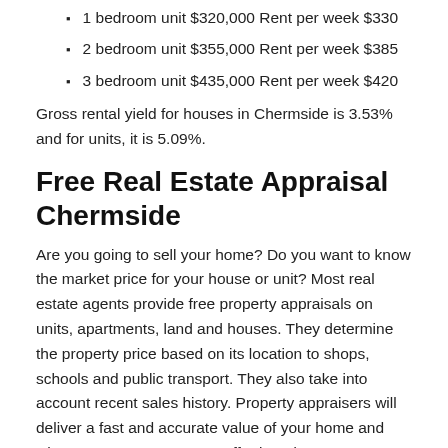1 bedroom unit $320,000 Rent per week $330
2 bedroom unit $355,000 Rent per week $385
3 bedroom unit $435,000 Rent per week $420
Gross rental yield for houses in Chermside is 3.53% and for units, it is 5.09%.
Free Real Estate Appraisal Chermside
Are you going to sell your home? Do you want to know the market price for your house or unit? Most real estate agents provide free property appraisals on units, apartments, land and houses. They determine the property price based on its location to shops, schools and public transport. They also take into account recent sales history. Property appraisers will deliver a fast and accurate value of your home and what you can expect as an offer in today's property climate.
Free Rental Appraisal Chermside
Do you want to rent your home and need a property manager? Or, do you own an investment property and need a rental